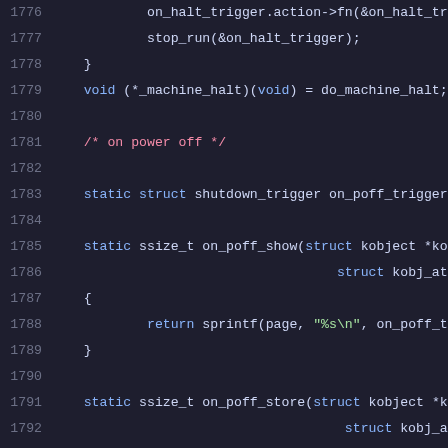[Figure (screenshot): Source code listing in a dark IDE theme showing C kernel code lines 1776-1796 related to halt and power-off trigger functions]